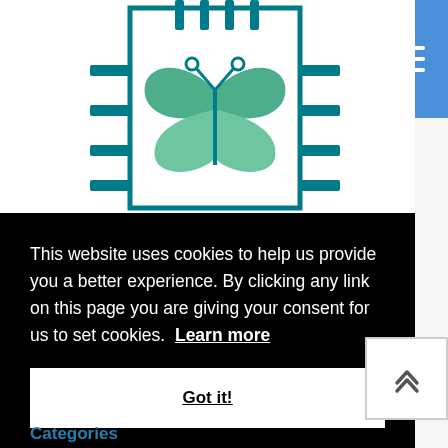[Figure (illustration): A teal/green butterfly icon centered inside a rectangular chip-like border with connector pins on top and sides, on white background]
This website uses cookies to help us provide you a better experience. By clicking any link on this page you are giving your consent for us to set cookies.  Learn more
Got it!
Categories